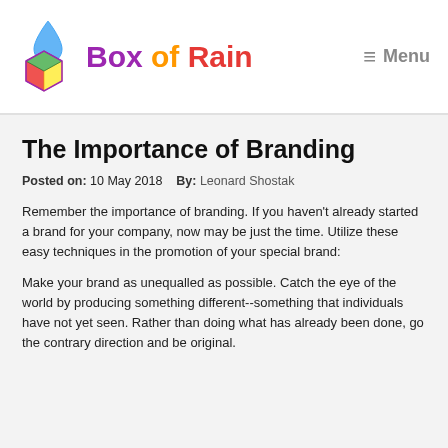[Figure (logo): Box of Rain logo with colorful 3D cube and water drop, multicolor text 'Box of Rain']
≡  Menu
The Importance of Branding
Posted on: 10 May 2018    By: Leonard Shostak
Remember the importance of branding. If you haven't already started a brand for your company, now may be just the time. Utilize these easy techniques in the promotion of your special brand:
Make your brand as unequalled as possible. Catch the eye of the world by producing something different--something that individuals have not yet seen. Rather than doing what has already been done, go the contrary direction and be original.